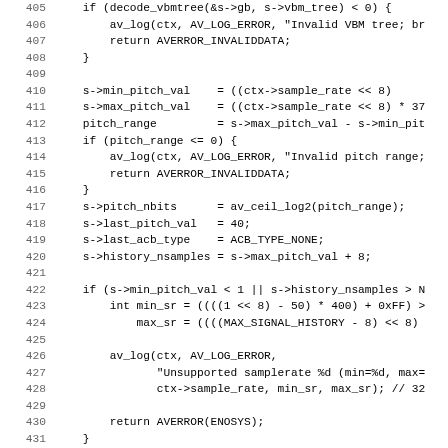[Figure (screenshot): Source code listing showing lines 405-436 of a C file, displaying audio codec initialization code involving VBM tree decoding, pitch range calculations, and sample rate validation.]